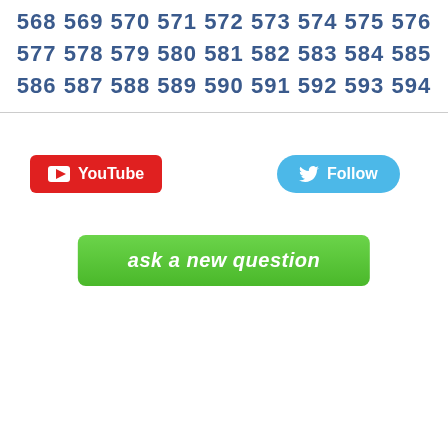568 569 570 571 572 573 574 575 576 577 578 579 580 581 582 583 584 585 586 587 588 589 590 591 592 593 594
[Figure (screenshot): YouTube button (red) with play icon and text 'YouTube']
[Figure (screenshot): Twitter Follow button (blue) with bird icon and text 'Follow']
[Figure (screenshot): Green button labeled 'ask a new question' in italic white bold text]